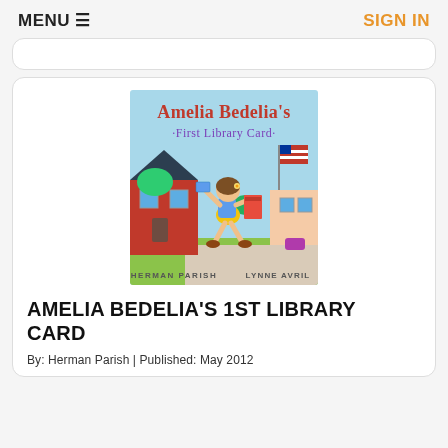MENU ≡   SIGN IN
[Figure (illustration): Book cover of 'Amelia Bedelia's First Library Card' by Herman Parish, illustrated by Lynne Avril. A cartoon girl with brown hair and a yellow flower runs happily holding a blue library card and a stack of red books. She wears a blue top and yellow skirt. Background shows a red school building, American flag on a pole, and a sunny outdoor scene.]
AMELIA BEDELIA'S 1ST LIBRARY CARD
By: Herman Parish | Published: May 2012